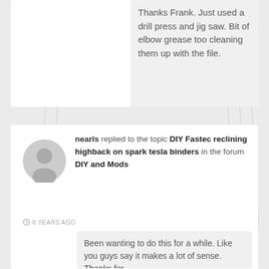Thanks Frank. Just used a drill press and jig saw. Bit of elbow grease too cleaning them up with the file.
nearls replied to the topic DIY Fastec reclining highback on spark tesla binders in the forum DIY and Mods
8 YEARS AGO
Been wanting to do this for a while. Like you guys say it makes a lot of sense. Thanks for